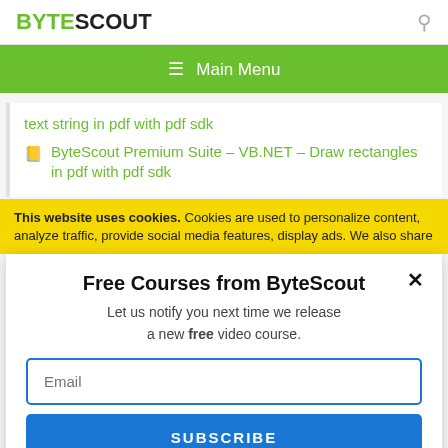BYTESCOUT
[Figure (screenshot): ByteScout website navigation bar with green background and hamburger menu icon showing Main Menu text]
text string in pdf with pdf sdk
ByteScout Premium Suite – VB.NET – Draw rectangles in pdf with pdf sdk
This website uses cookies. Cookies are used to personalize content, analyze traffic, provide social media features, display ads. We also share
Free Courses from ByteScout
Let us notify you next time we release a new free video course.
Email
SUBSCRIBE